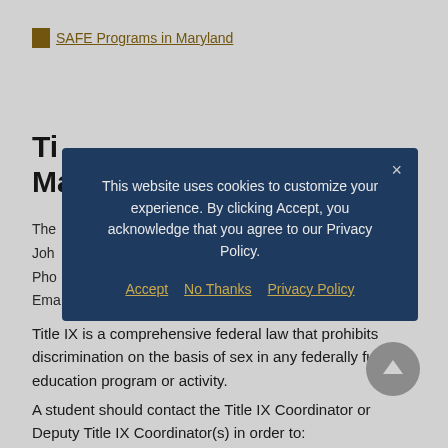SAFE Programs in Maryland
Ti...
Ma...
The...
Joh...
Pho...
Ema...
[Figure (screenshot): Cookie consent modal dialog with dark navy background. Text reads: 'This website uses cookies to customize your experience. By clicking Accept, you acknowledge that you agree to our Privacy Policy.' Links: Accept, No Thanks, Privacy Policy. Close button (×) in top right.]
Title IX is a comprehensive federal law that prohibits discrimination on the basis of sex in any federally funded education program or activity.
A student should contact the Title IX Coordinator or Deputy Title IX Coordinator(s) in order to: